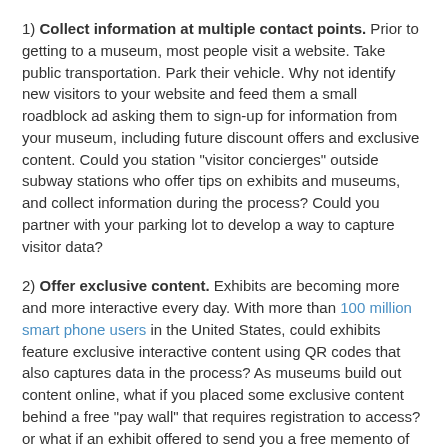1) Collect information at multiple contact points. Prior to getting to a museum, most people visit a website. Take public transportation. Park their vehicle. Why not identify new visitors to your website and feed them a small roadblock ad asking them to sign-up for information from your museum, including future discount offers and exclusive content. Could you station "visitor concierges" outside subway stations who offer tips on exhibits and museums, and collect information during the process? Could you partner with your parking lot to develop a way to capture visitor data?
2) Offer exclusive content. Exhibits are becoming more and more interactive every day. With more than 100 million smart phone users in the United States, could exhibits feature exclusive interactive content using QR codes that also captures data in the process? As museums build out content online, what if you placed some exclusive content behind a free "pay wall" that requires registration to access? or what if an exhibit offered to send you a free memento of your experience via email?